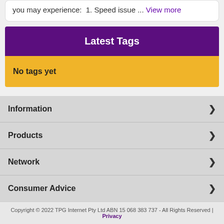you may experience:  1. Speed issue ... View more
Latest Tags
No tags yet
Information
Products
Network
Consumer Advice
Copyright © 2022 TPG Internet Pty Ltd ABN 15 068 383 737 - All Rights Reserved | Privacy